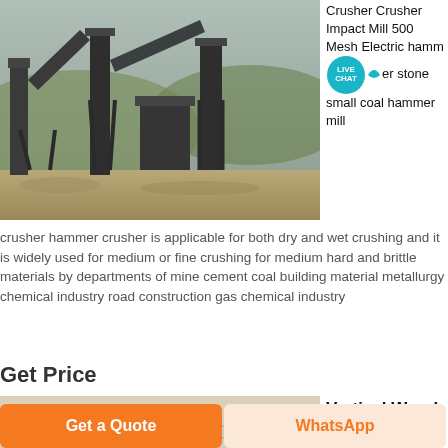[Figure (photo): Industrial crusher/hammer mill machinery at a mining or quarry site, large metal conveyor and crushing equipment against a hilly backdrop.]
Crusher Crusher Impact Mill 500 Mesh Electric hammer stone small coal hammer mill
crusher hammer crusher is applicable for both dry and wet crushing and it is widely used for medium or fine crushing for medium hard and brittle materials by departments of mine cement coal building material metallurgy chemical industry road construction gas chemical industry
Get Price
[Figure (photo): Vertical wood powder milling machine in a large circular tank/basin with a worker on the platform.]
Vertical Wood Powder Machine Milling Grinder
Get a Quote
WhatsApp